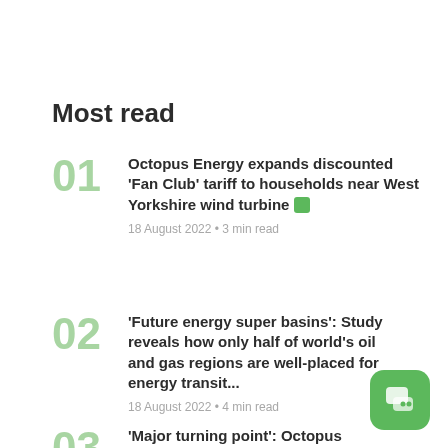Most read
Octopus Energy expands discounted 'Fan Club' tariff to households near West Yorkshire wind turbine
'Future energy super basins': Study reveals how only half of world's oil and gas regions are well-placed for energy transition
'Major turning point': Octopus